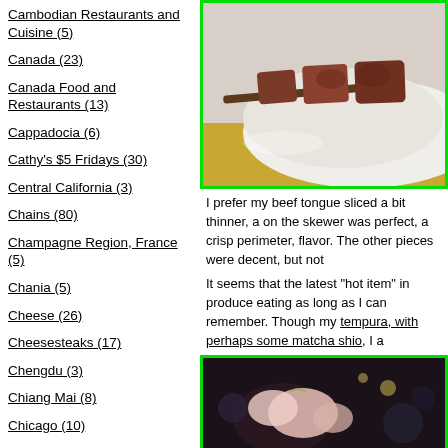Cambodian Restaurants and Cuisine (5)
Canada (23)
Canada Food and Restaurants (13)
Cappadocia (6)
Cathy's $5 Fridays (30)
Central California (3)
Chains (80)
Champagne Region, France (5)
Chania (5)
Cheese (26)
Cheesesteaks (17)
Chengdu (3)
Chiang Mai (8)
Chicago (10)
Chicken Wings (126)
Chile (3)
Chilean Food and Restaurants (2)
[Figure (photo): Photo of meat on a skewer on a white plate with a yellow woven placemat]
I prefer my beef tongue sliced a bit thinner, a on the skewer was perfect, a crisp perimeter, flavor. The other pieces were decent, but not
It seems that the latest "hot item" in produce eating as long as I can remember. Though my tempura, with perhaps some matcha shio, I a
[Figure (photo): Photo of food dish at a restaurant, dark background with colorful garnishes]